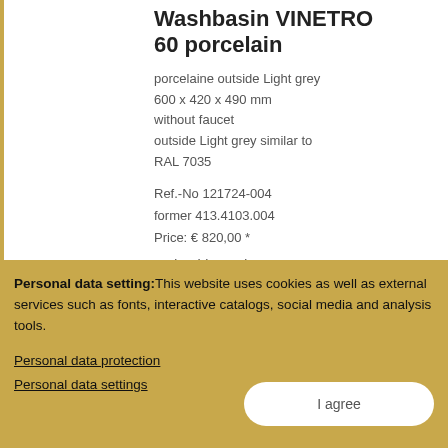Washbasin VINETRO 60 porcelain
porcelaine outside Light grey
600 x 420 x 490 mm
without faucet
outside Light grey similar to RAL 7035
Ref.-No 121724-004
former 413.4103.004
Price: € 820,00 *
Order this product:
Add to favourites
Add to shopping cart
Personal data setting: This website uses cookies as well as external services such as fonts, interactive catalogs, social media and analysis tools.
Personal data protection
Personal data settings
I agree